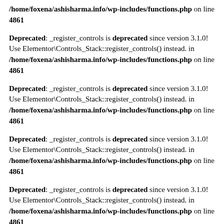/home/foxena/ashisharma.info/wp-includes/functions.php on line 4861
Deprecated: _register_controls is deprecated since version 3.1.0! Use Elementor\Controls_Stack::register_controls() instead. in /home/foxena/ashisharma.info/wp-includes/functions.php on line 4861
Deprecated: _register_controls is deprecated since version 3.1.0! Use Elementor\Controls_Stack::register_controls() instead. in /home/foxena/ashisharma.info/wp-includes/functions.php on line 4861
Deprecated: _register_controls is deprecated since version 3.1.0! Use Elementor\Controls_Stack::register_controls() instead. in /home/foxena/ashisharma.info/wp-includes/functions.php on line 4861
Deprecated: _register_controls is deprecated since version 3.1.0! Use Elementor\Controls_Stack::register_controls() instead. in /home/foxena/ashisharma.info/wp-includes/functions.php on line 4861
Deprecated: _register_controls is deprecated since version 3.1.0! Use Elementor\Controls_Stack::register_controls() instead. in